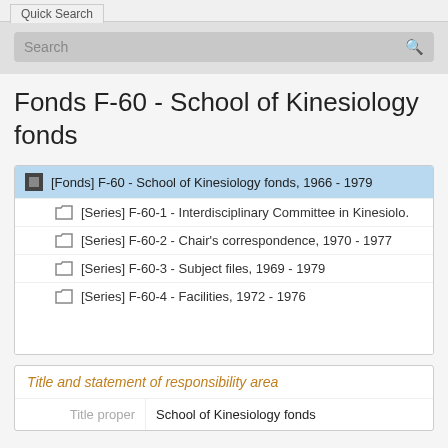Quick Search
Fonds F-60 - School of Kinesiology fonds
[Fonds] F-60 - School of Kinesiology fonds, 1966 - 1979
[Series] F-60-1 - Interdisciplinary Committee in Kinesiolo.
[Series] F-60-2 - Chair's correspondence, 1970 - 1977
[Series] F-60-3 - Subject files, 1969 - 1979
[Series] F-60-4 - Facilities, 1972 - 1976
Title and statement of responsibility area
|  |  |
| --- | --- |
| Title proper | School of Kinesiology fonds |